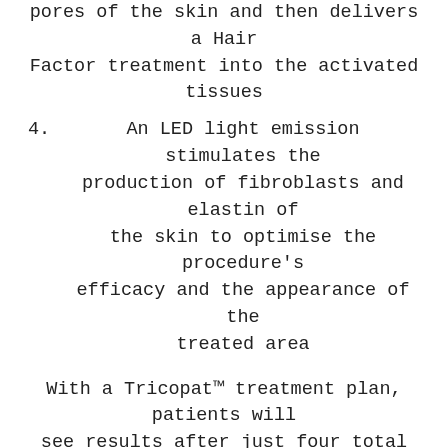pores of the skin and then delivers a Hair Factor treatment into the activated tissues
4. An LED light emission stimulates the production of fibroblasts and elastin of the skin to optimise the procedure’s efficacy and the appearance of the treated area
With a Tricopat™ treatment plan, patients will see results after just four total sessions conducted three weeks apart.
A simple procedure for the operator and a pleasant experience for the patient, Tricopat™ is an extremely attractive hair loss treatment option for patients seeking a safer, less invasive